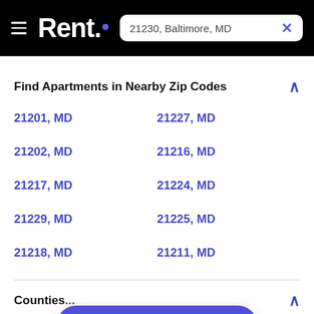Rent. | 21230, Baltimore, MD
Find Apartments in Nearby Zip Codes
21201, MD
21227, MD
21202, MD
21216, MD
21217, MD
21224, MD
21229, MD
21225, MD
21218, MD
21211, MD
Counties
Filters (4) | Map